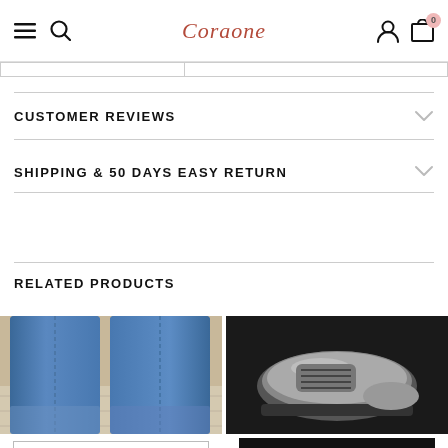Coraone — navigation header with hamburger, search, user, and cart icons
CUSTOMER REVIEWS
SHIPPING & 50 DAYS EASY RETURN
RELATED PRODUCTS
[Figure (photo): Photo of legs in blue jeans with light wood floor background — related product]
[Figure (photo): Black and white photo of a shoe/sneaker on dark background — related product]
Brown / 5 - US$49.98
ADD TO CART